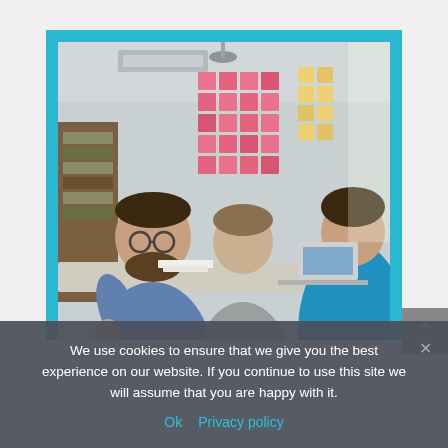[Figure (photo): Three people in a modern office having a meeting around a table. The background shows a glass wall covered with colorful pink and yellow sticky notes. One man with glasses and a beard in a blue shirt is speaking to a woman in blue visible from behind, while another man in a gray t-shirt sits between them. The image is framed by a teal/cyan border.]
We use cookies to ensure that we give you the best experience on our website. If you continue to use this site we will assume that you are happy with it.
Ok   Privacy policy